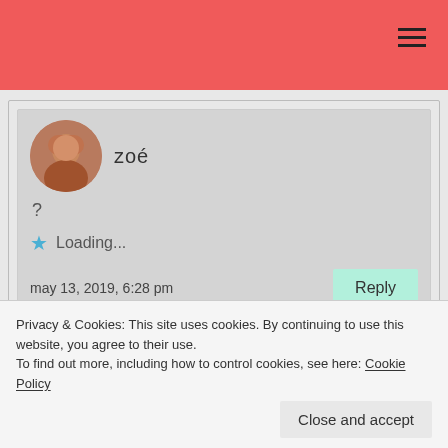zoé
?
Loading...
may 13, 2019, 6:28 pm
Reply
zoé
Privacy & Cookies: This site uses cookies. By continuing to use this website, you agree to their use.
To find out more, including how to control cookies, see here: Cookie Policy
Close and accept
Loading...